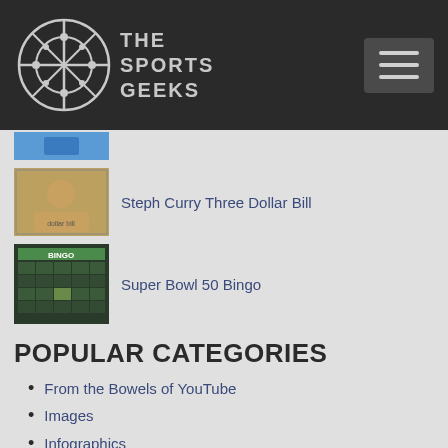The Sports Geeks
[Figure (photo): Partially visible thumbnail image with blue/teal color]
Steph Curry Three Dollar Bill
[Figure (photo): Thumbnail of Steph Curry Three Dollar Bill]
Super Bowl 50 Bingo
[Figure (photo): Thumbnail of Super Bowl 50 Bingo card]
POPULAR CATEGORIES
From the Bowels of YouTube
Images
Infographics
Lists
MLB
NBA
NFL
Olympics
Videos